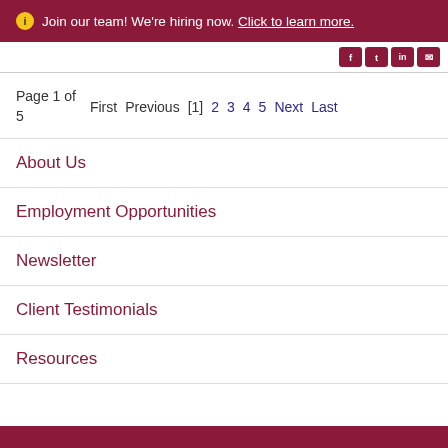ℹ Join our team! We're hiring now. Click to learn more.
Page 1 of 5  First  Previous  [1]  2  3  4  5  Next  Last
About Us
Employment Opportunities
Newsletter
Client Testimonials
Resources